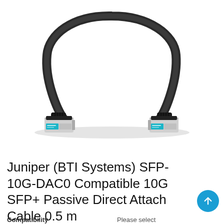[Figure (photo): A SFP+ passive direct attach cable (DAC) with two SFP+ connectors on each end, dark gray/black cable formed in a loop. Connectors are silver with teal/blue pull-tab labels.]
Juniper (BTI Systems) SFP-10G-DAC0 Compatible 10G SFP+ Passive Direct Attach Cable 0.5 m
Compatibility    Please select